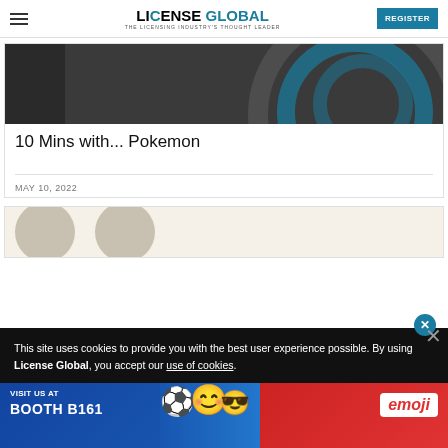LICENSE GLOBAL — THE LICENSING INDUSTRY'S THOUGHT LEADER | REGISTER
[Figure (screenshot): Dark gray banner image with teal concentric arc shapes on the right side and a dark left panel]
10 Mins with... Pokemon
MAY 10, 2022
[Figure (screenshot): Partial card image with light beige background and gray circular shapes]
This site uses cookies to provide you with the best user experience possible. By using License Global, you accept our use of cookies.
[Figure (screenshot): Emoji brand advertisement banner: VISIT US AT BOOTH B161 with emoji characters and logo]